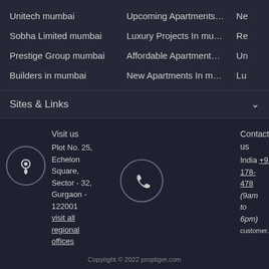Unitech mumbai
Upcoming Apartments i...
Ne
Sobha Limited mumbai
Luxury Projects In mumbai
Re
Prestige Group mumbai
Affordable Apartments I...
Un
Builders in mumbai
New Apartments In mu...
Lu
Sites & Links
Visit us
Plot No. 25, Echelon Square, Sector - 32, Gurgaon - 122001
visit all regional offices
Contact us
India +918030-178-478
(9am to 6pm)
customer.service@proptiger.c
Follow Us
Copyright © 2022 proptiger.com